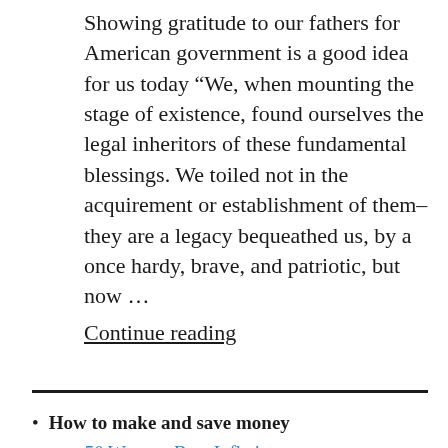Showing gratitude to our fathers for American government is a good idea for us today “We, when mounting the stage of existence, found ourselves the legal inheritors of these fundamental blessings. We toiled not in the acquirement or establishment of them–they are a legacy bequeathed us, by a once hardy, brave, and patriotic, but now …
Continue reading
How to make and save money
50 Ways to Beat Inflation
A Conservative Letter on Black Friday